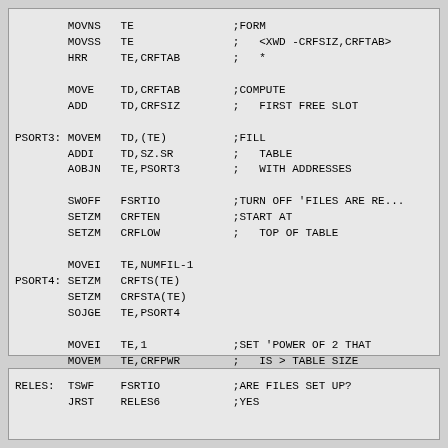MOVNS   TE                  ;FORM
        MOVSS   TE                  ;   <XWD -CRFSIZ,CRFTAB>
        HRR     TE,CRFTAB           ;   *

        MOVE    TD,CRFTAB           ;COMPUTE
        ADD     TD,CRFSIZ           ;   FIRST FREE SLOT

PSORT3: MOVEM   TD,(TE)             ;FILL
        ADDI    TD,SZ.SR            ;   TABLE
        AOBJN   TE,PSORT3           ;   WITH ADDRESSES

        SWOFF   FSRTIO              ;TURN OFF 'FILES ARE RE...
        SETZM   CRFTEN              ;START AT
        SETZM   CRFLOW              ;   TOP OF TABLE

        MOVEI   TE,NUMFIL-1
PSORT4: SETZM   CRFTS(TE)
        SETZM   CRFSTA(TE)
        SOJGE   TE,PSORT4

        MOVEI   TE,1                ;SET 'POWER OF 2 THAT
        MOVEM   TE,CRFPWR           ;   IS > TABLE SIZE

        POPJ    PP,
RELES:  TSWF    FSRTIO              ;ARE FILES SET UP?
        JRST    RELES6              ;YES